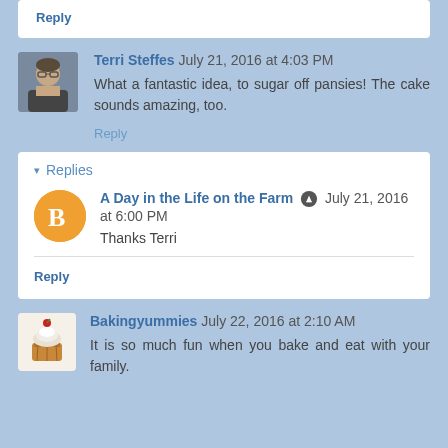Reply
Terri Steffes July 21, 2016 at 4:03 PM
What a fantastic idea, to sugar off pansies! The cake sounds amazing, too.
Reply
Replies
A Day in the Life on the Farm July 21, 2016 at 6:00 PM
Thanks Terri
Reply
Bakingyummies July 22, 2016 at 2:10 AM
It is so much fun when you bake and eat with your family.